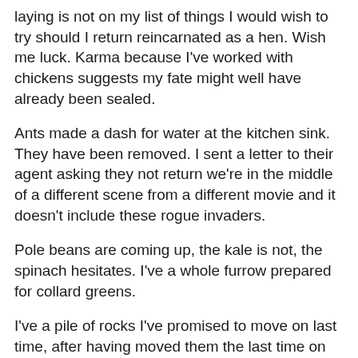laying is not on my list of things I would wish to try should I return reincarnated as a hen. Wish me luck. Karma because I've worked with chickens suggests my fate might well have already been sealed.
Ants made a dash for water at the kitchen sink. They have been removed. I sent a letter to their agent asking they not return we're in the middle of a different scene from a different movie and it doesn't include these rogue invaders.
Pole beans are coming up, the kale is not, the spinach hesitates. I've a whole furrow prepared for collard greens.
I've a pile of rocks I've promised to move on last time, after having moved them the last time on three previous occasions. Seems as if things change and the rocks mark the exact location of where the next changes are located.  I'm trying to imagine changing without having to move a pile of rocks. This appears to be harder to do than simply busting my butt